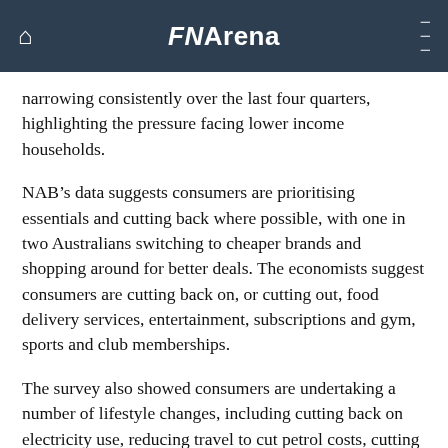FNArena
narrowing consistently over the last four quarters, highlighting the pressure facing lower income households.
NAB's data suggests consumers are prioritising essentials and cutting back where possible, with one in two Australians switching to cheaper brands and shopping around for better deals. The economists suggest consumers are cutting back on, or cutting out, food delivery services, entertainment, subscriptions and gym, sports and club memberships.
The survey also showed consumers are undertaking a number of lifestyle changes, including cutting back on electricity use, reducing travel to cut petrol costs, cutting back on small treats such as coffees, snacks and lunches, keeping track of spending and following a budget, and delaying or downsizing holiday plans.
While NAB stressed its average customer remains well-positioned to weather the rising cost of living, with 70% of the bank's customer base ahead of their mortgage payments, its data revealed 9% of